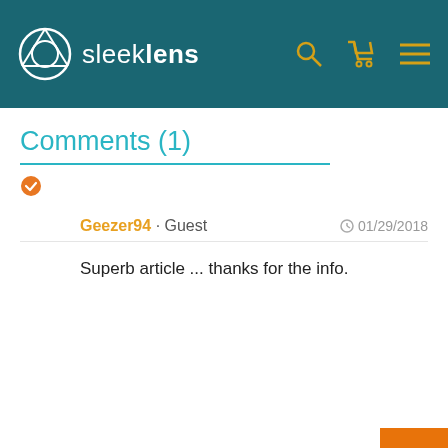sleeklens
Comments (1)
Geezer94 · Guest  01/29/2018
Superb article ... thanks for the info.
[Figure (photo): Partial side profile of a person's face, warm golden light, visible on right edge of page]